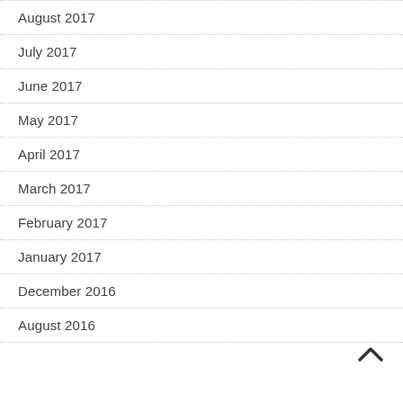August 2017
July 2017
June 2017
May 2017
April 2017
March 2017
February 2017
January 2017
December 2016
August 2016